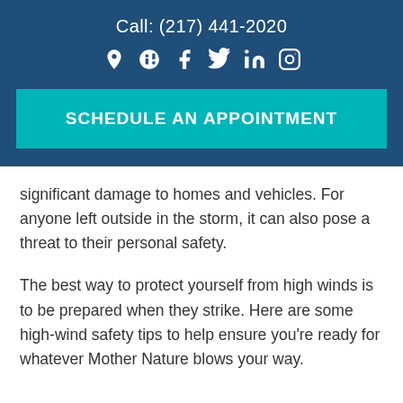Call: (217) 441-2020
[Figure (infographic): Row of social media icons: location pin, Yelp, Facebook, Twitter, LinkedIn, Instagram — all white on dark blue background]
SCHEDULE AN APPOINTMENT
significant damage to homes and vehicles. For anyone left outside in the storm, it can also pose a threat to their personal safety.
The best way to protect yourself from high winds is to be prepared when they strike. Here are some high-wind safety tips to help ensure you’re ready for whatever Mother Nature blows your way.